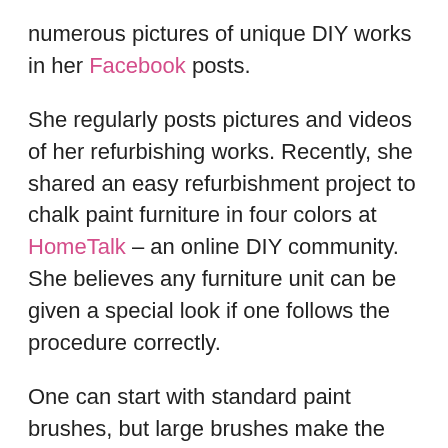numerous pictures of unique DIY works in her Facebook posts.
She regularly posts pictures and videos of her refurbishing works. Recently, she shared an easy refurbishment project to chalk paint furniture in four colors at HomeTalk – an online DIY community. She believes any furniture unit can be given a special look if one follows the procedure correctly.
One can start with standard paint brushes, but large brushes make the paint job quick and easy. After choosing the desirable color palette, drop the chalk paints in a way that they stay cozy with each other and dip the brush without disturbing